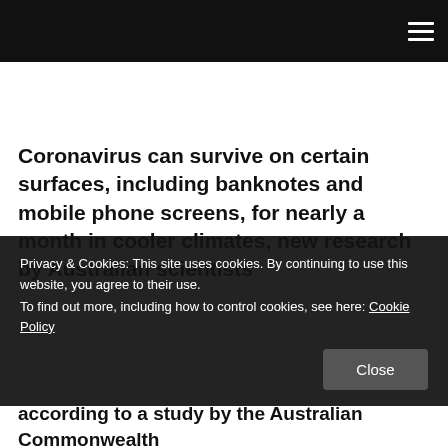≡
Coronavirus can survive on certain surfaces, including banknotes and mobile phone screens, for nearly a month in cooler climates, new research by Australian scientists
Privacy & Cookies: This site uses cookies. By continuing to use this website, you agree to their use.
To find out more, including how to control cookies, see here: Cookie Policy
according to a study by the Australian Commonwealth